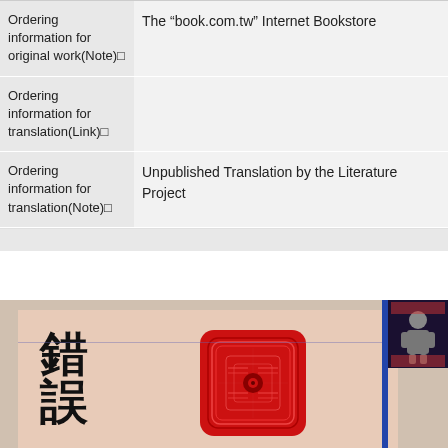|  |  |
| --- | --- |
| Ordering information for original work(Note)□ | The “book.com.tw” Internet Bookstore |
| Ordering information for translation(Link)□ |  |
| Ordering information for translation(Note)□ | Unpublished Translation by the Literature Project |
[Figure (photo): Book cover image showing Chinese characters and a red decorative stamp/seal, with a dark inset image in the top right corner]